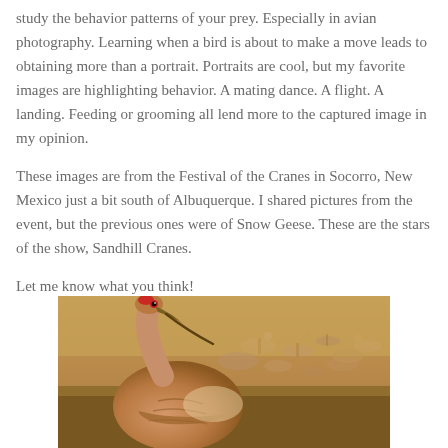study the behavior patterns of your prey. Especially in avian photography. Learning when a bird is about to make a move leads to obtaining more than a portrait. Portraits are cool, but my favorite images are highlighting behavior. A mating dance. A flight. A landing. Feeding or grooming all lend more to the captured image in my opinion.
These images are from the Festival of the Cranes in Socorro, New Mexico just a bit south of Albuquerque. I shared pictures from the event, but the previous ones were of Snow Geese. These are the stars of the show, Sandhill Cranes.
Let me know what you think!
[Figure (photo): A close-up photograph of a Sandhill Crane appearing to groom or feed, with a red eye visible, set against a blurred background of many cranes in warm golden-brown tones at the Festival of the Cranes in Socorro, New Mexico.]